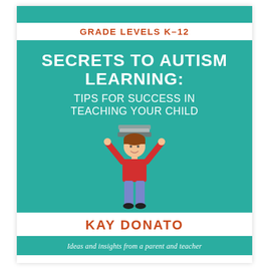GRADE LEVELS K–12
SECRETS TO AUTISM LEARNING: TIPS FOR SUCCESS IN TEACHING YOUR CHILD
[Figure (illustration): Cartoon illustration of a child with arms raised, balancing a stack of books on their head, wearing a red shirt and purple/blue pants]
KAY DONATO
Ideas and insights from a parent and teacher